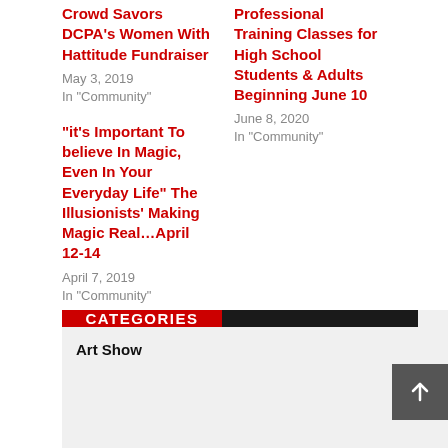Crowd Savors DCPA's Women With Hattitude Fundraiser
May 3, 2019
In "Community"
Professional Training Classes for High School Students & Adults Beginning June 10
June 8, 2020
In "Community"
“it’s Important To believe In Magic, Even In Your Everyday Life” The Illusionists’ Making Magic Real…April 12-14
April 7, 2019
In "Community"
CATEGORIES
Art Show